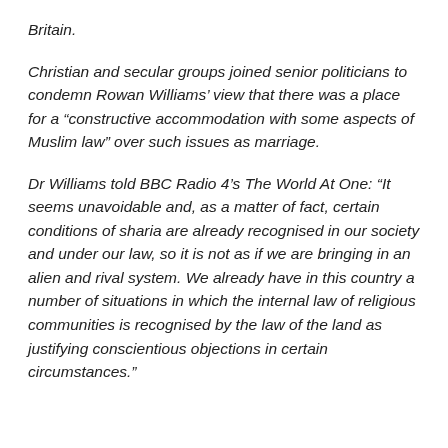Britain.
Christian and secular groups joined senior politicians to condemn Rowan Williams’ view that there was a place for a “constructive accommodation with some aspects of Muslim law” over such issues as marriage.
Dr Williams told BBC Radio 4’s The World At One: “It seems unavoidable and, as a matter of fact, certain conditions of sharia are already recognised in our society and under our law, so it is not as if we are bringing in an alien and rival system. We already have in this country a number of situations in which the internal law of religious communities is recognised by the law of the land as justifying conscientious objections in certain circumstances.”